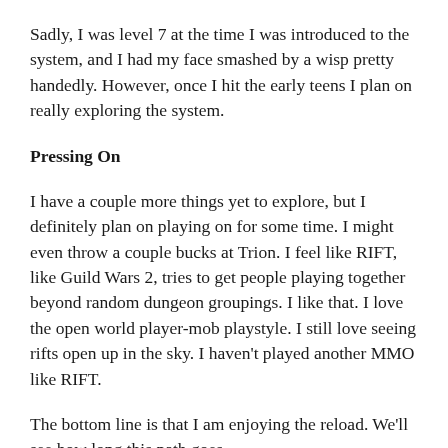Sadly, I was level 7 at the time I was introduced to the system, and I had my face smashed by a wisp pretty handedly. However, once I hit the early teens I plan on really exploring the system.
Pressing On
I have a couple more things yet to explore, but I definitely plan on playing on for some time. I might even throw a couple bucks at Trion. I feel like RIFT, like Guild Wars 2, tries to get people playing together beyond random dungeon groupings. I like that. I love the open world player-mob playstyle. I still love seeing rifts open up in the sky. I haven’t played another MMO like RIFT.
The bottom line is that I am enjoying the reload. We’ll see how long this path goes.